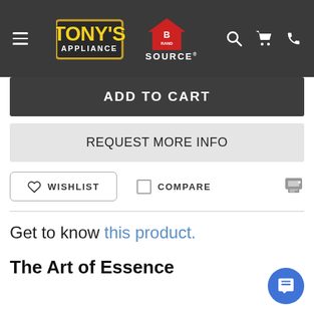[Figure (logo): Tony's Appliance Brand Source logo in website navigation header with hamburger menu, search, cart, and phone icons]
ADD TO CART
REQUEST MORE INFO
WISHLIST
COMPARE
Get to know this product.
The Art of Essence